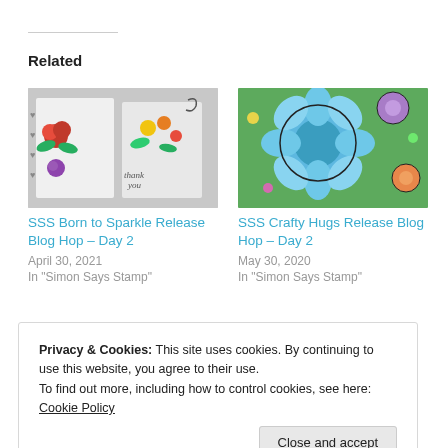Related
[Figure (photo): Colorful floral greeting cards with roses and flowers on a white background – SSS Born to Sparkle Release Blog Hop thumbnail]
SSS Born to Sparkle Release Blog Hop – Day 2
April 30, 2021
In "Simon Says Stamp"
[Figure (photo): Colorful paper flowers in blue, purple, orange tones – SSS Crafty Hugs Release Blog Hop thumbnail]
SSS Crafty Hugs Release Blog Hop – Day 2
May 30, 2020
In "Simon Says Stamp"
[Figure (photo): Partial view of a floral card with red and green flowers at bottom of page]
Privacy & Cookies: This site uses cookies. By continuing to use this website, you agree to their use.
To find out more, including how to control cookies, see here: Cookie Policy
Close and accept